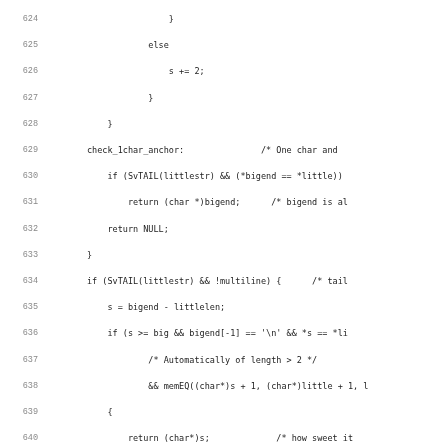Source code listing, lines 624-656, C/Perl source code